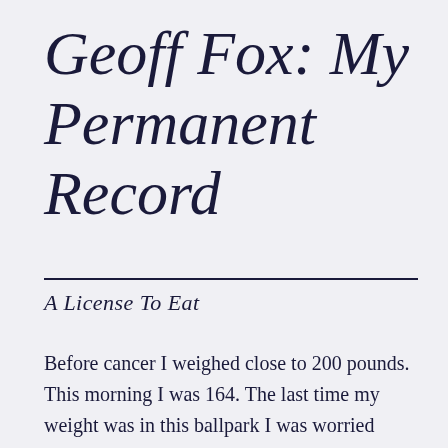Geoff Fox: My Permanent Record
A License To Eat
Before cancer I weighed close to 200 pounds. This morning I was 164. The last time my weight was in this ballpark I was worried about the SATs.